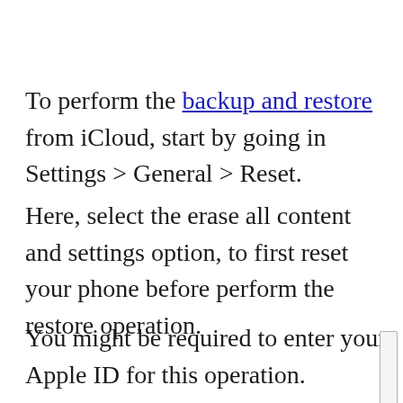To perform the backup and restore from iCloud, start by going in Settings > General > Reset.
Here, select the erase all content and settings option, to first reset your phone before perform the restore operation.
You might be required to enter your Apple ID for this operation.